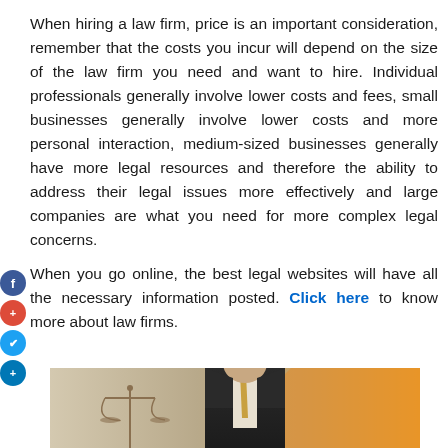When hiring a law firm, price is an important consideration, remember that the costs you incur will depend on the size of the law firm you need and want to hire. Individual professionals generally involve lower costs and fees, small businesses generally involve lower costs and more personal interaction, medium-sized businesses generally have more legal resources and therefore the ability to address their legal issues more effectively and large companies are what you need for more complex legal concerns.
When you go online, the best legal websites will have all the necessary information posted. Click here to know more about law firms.
[Figure (photo): A person in a suit (lawyer) with a scales of justice figure on a desk, warm orange lighting in background]